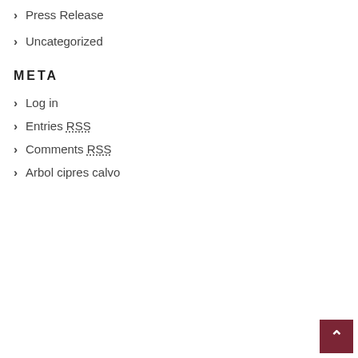Press Release
Uncategorized
META
Log in
Entries RSS
Comments RSS
Arbol cipres calvo